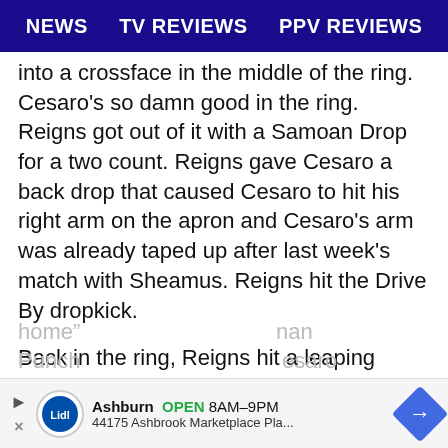NEWS   TV REVIEWS   PPV REVIEWS
into a crossface in the middle of the ring. Cesaro's so damn good in the ring. Reigns got out of it with a Samoan Drop for a two count. Reigns gave Cesaro a back drop that caused Cesaro to hit his right arm on the apron and Cesaro's arm was already taped up after last week's match with Sheamus. Reigns hit the Drive By dropkick.
Back in the ring, Reigns hit a leaping clothesline. Reigns hit a sitout powerbomb for a two count. JBL said if the average person wanted to try that it's possible while Cole said that people shouldn't try it and leave it to the pros in the ring. JBL said he's correct and that he was trying to make a point. That was awkward. Got to plug those “don't try this at home”... nan Punch ... esaro
[Figure (other): Advertisement banner for Lidl store in Ashburn showing store hours 8AM-9PM and address 44175 Ashbrook Marketplace Pla... with navigation arrow icon]